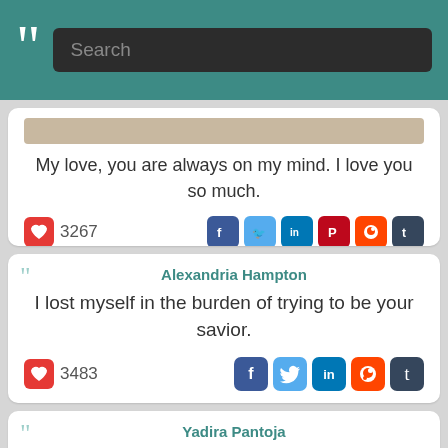Search
My love, you are always on my mind. I love you so much.
3267
Alexandria Hampton — I lost myself in the burden of trying to be your savior.
3483
Yadira Pantoja
[Figure (photo): Hands holding together over wooden table with quote overlay: 'Although the past is the sculptor of the future, the love of the future is the eraser of the past.' — Yadira Pantoja]